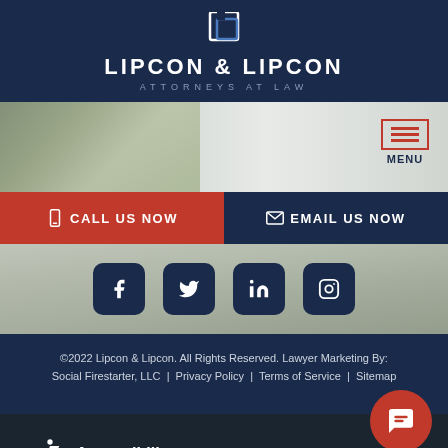[Figure (logo): Lipcon & Lipcon Attorneys at Law logo with icon on dark navy background]
[Figure (screenshot): Navigation bar with photo background of palm trees and hamburger MENU button]
CALL US NOW
EMAIL US NOW
[Figure (infographic): Social media icons: Facebook, Twitter, LinkedIn, Instagram on outdoor photo background]
©2022 Lipcon & Lipcon. All Rights Reserved. Lawyer Marketing By: Social Firestarter, LLC | Privacy Policy | Terms of Service | Sitemap
[Figure (infographic): Accessibility button with wheelchair icon and share bar with social media sharing buttons]